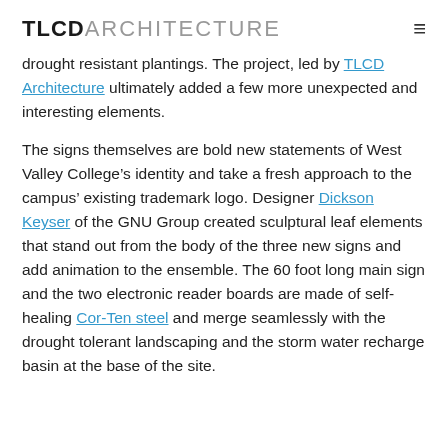TLCD ARCHITECTURE
drought resistant plantings. The project, led by TLCD Architecture ultimately added a few more unexpected and interesting elements.
The signs themselves are bold new statements of West Valley College’s identity and take a fresh approach to the campus’ existing trademark logo. Designer Dickson Keyser of the GNU Group created sculptural leaf elements that stand out from the body of the three new signs and add animation to the ensemble. The 60 foot long main sign and the two electronic reader boards are made of self-healing Cor-Ten steel and merge seamlessly with the drought tolerant landscaping and the storm water recharge basin at the base of the site.